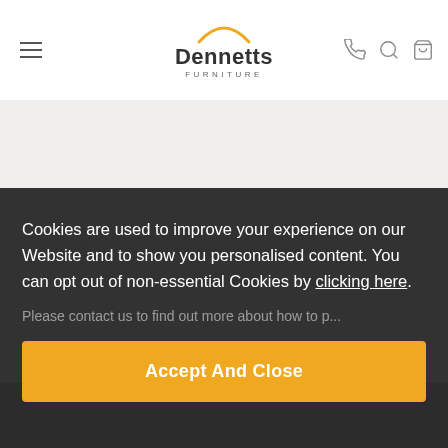Dennetts Furniture
[Figure (screenshot): Product image area with carousel dots (light gray background)]
Cookies are used to improve your experience on our Website and to show you personalised content. You can opt out of non-essential Cookies by clicking here.
Please contact us to find out more about how to p...
Accept And Close